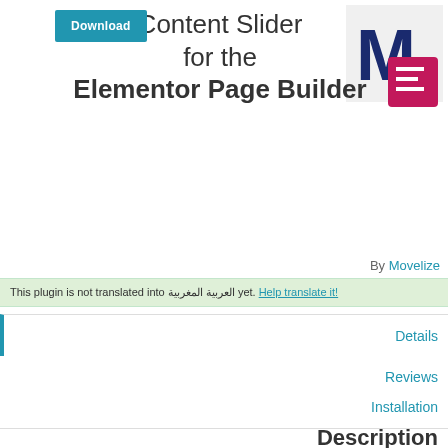[Figure (logo): Plugin logo: dark blue M letter with pink/purple Elementor icon overlay on grey background]
Content Slider for the Elementor Page Builder
Download
By Movelize
This plugin is not translated into العربية المغربية yet. Help translate it!
Details
Reviews
Installation
Support
Development
Description